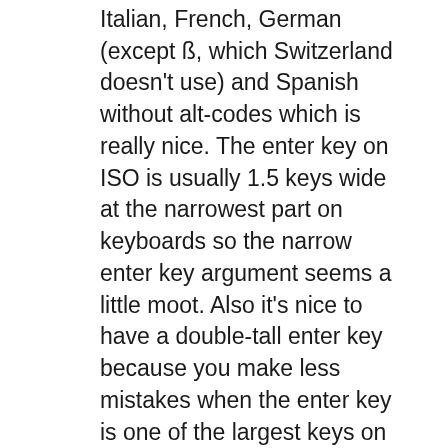Italian, French, German (except ß, which Switzerland doesn't use) and Spanish without alt-codes which is really nice. The enter key on ISO is usually 1.5 keys wide at the narrowest part on keyboards so the narrow enter key argument seems a little moot. Also it's nice to have a double-tall enter key because you make less mistakes when the enter key is one of the largest keys on the keyboard. I've tried ANSI and losing \ mapped to the ISO key is really bad when programming. Regarding the short shift, that's rarely a problem because from my experience I put my pinky on the left outer edge of the shift key anyways.